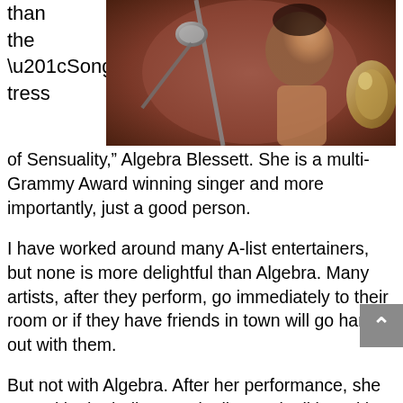[Figure (photo): A performer on stage near a microphone, warm brownish-reddish background tones, partial view of a person and microphone stand.]
than the “Songs tress of Sensuality,” Algebra Blessett. She is a multi-Grammy Award winning singer and more importantly, just a good person.
I have worked around many A-list entertainers, but none is more delightful than Algebra. Many artists, after they perform, go immediately to their room or if they have friends in town will go hang out with them.
But not with Algebra. After her performance, she stayed in the ballroom mingling and talking with people and signing autographs and taking what seemed like a million pictures. As if that wasn’t enough, she went to her room to change clothes and then hung out with the attendees at the hotel bar.